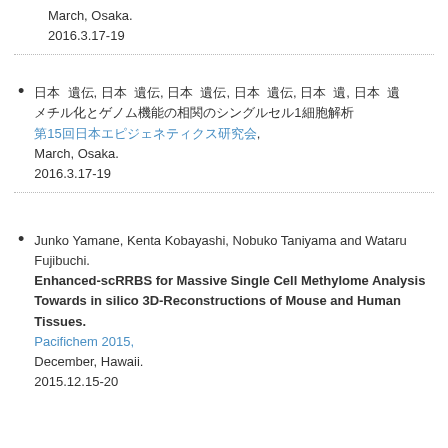March, Osaka.
2016.3.17-19
日本 遺伝, 日本 遺伝, 日本 遺伝, 日本 遺伝, 日本 遺, 日本 遺
メチル化とゲノム機能の相関のシングルセル1細胞解析
第15回日本エピジェネティクス研究会,
March, Osaka.
2016.3.17-19
Junko Yamane, Kenta Kobayashi, Nobuko Taniyama and Wataru Fujibuchi.
Enhanced-scRRBS for Massive Single Cell Methylome Analysis Towards in silico 3D-Reconstructions of Mouse and Human Tissues.
Pacifichem 2015,
December, Hawaii.
2015.12.15-20